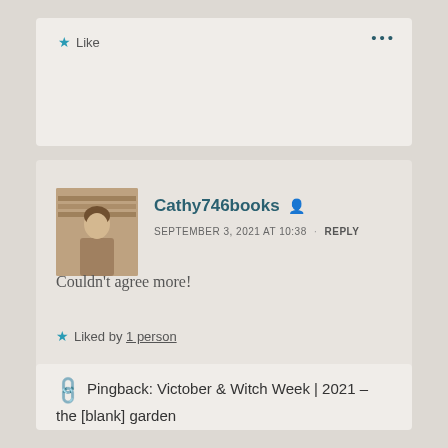★ Like
···
Cathy746books
SEPTEMBER 3, 2021 AT 10:38 · REPLY
Couldn't agree more!
★ Liked by 1 person
Pingback: Victober & Witch Week | 2021 – the [blank] garden